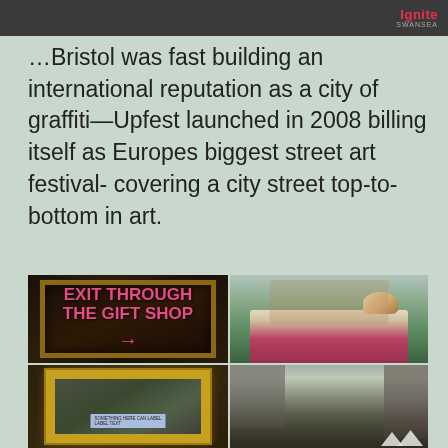Ignite Swansea
…Bristol was fast building an international reputation as a city of graffiti—Upfest launched in 2008 billing itself as Europes biggest street art festival- covering a city street top-to-bottom in art.
[Figure (photo): Two photos in top row: left shows a framed painting with 'EXIT THROUGH THE GIFT SHOP' spray-painted in pink graffiti with pink arrow; right shows a graffiti-covered ice cream van with a giant ice cream cone sculpture on top in a museum or gallery courtyard]
[Figure (photo): Two photos in bottom row: left shows an ornate gold picture frame in a dark setting with a small label; right shows a crowded city street scene with buildings and market tents]